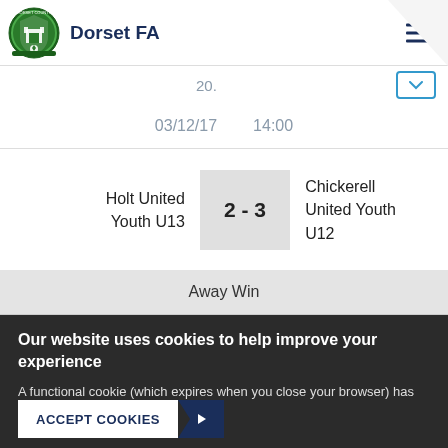Dorset FA
20.
03/12/17   14:00
| Home | Score | Away |
| --- | --- | --- |
| Holt United Youth U13 | 2 - 3 | Chickerell United Youth U12 |
Away Win
Our website uses cookies to help improve your experience
A functional cookie (which expires when you close your browser) has already been placed on your machine. More details
ACCEPT COOKIES